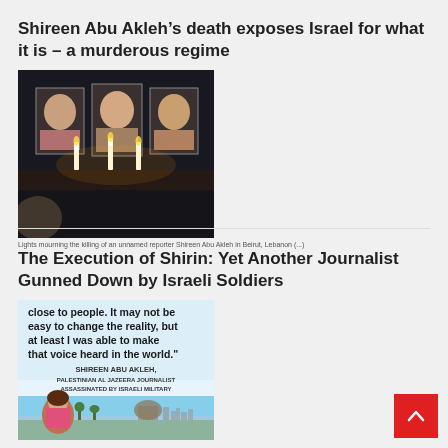Shireen Abu Akleh’s death exposes Israel for what it is – a murderous regime
[Figure (photo): Candles lit in front of photos of a person, vigil scene]
Lights mourning the killing of an unnamed reporter Shireen Abu Akleh in Beirut, Lebanon (...)
The Execution of Shirin: Yet Another Journalist Gunned Down by Israeli Soldiers
[Figure (photo): Quote image with text: close to people. It may not be easy to change the reality, but at least I was able to make that voice heard in the world. SHIREEN ABU AKLEH, PALESTINIAN AL JAZEERA JOURNALIST ASSASSINATED BY ISRAELI MILITARY. Below is a photo of a woman in a pink top with a city skyline background.]